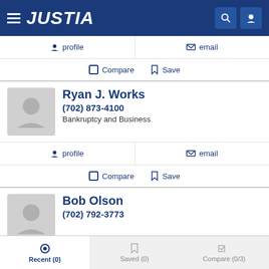JUSTIA
profile   email
Compare   Save
Ryan J. Works
(702) 873-4100
Bankruptcy and Business
profile   email
Compare   Save
Bob Olson
(702) 792-3773
Recent (0)   Saved (0)   Compare (0/3)